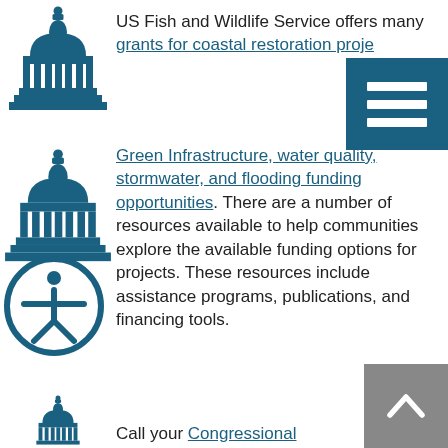[Figure (illustration): Capitol building icon in teal/dark blue]
US Fish and Wildlife Service offers many grants for coastal restoration projects
[Figure (illustration): Menu/hamburger button overlay, teal background with three white bars]
[Figure (illustration): Capitol building icon in teal/dark blue]
Green Infrastructure, water quality, stormwater, and flooding funding opportunities. There are a number of resources available to help communities explore the available funding options for projects. These resources include assistance programs, publications, and financing tools.
[Figure (illustration): Capitol building icon in teal/dark blue]
Grants.gov is a searchable database of federal grant opportunities. It also provides information on how to apply for grants and the grant-making process.
[Figure (illustration): Accessibility icon — person in circle, teal/dark blue]
[Figure (illustration): Back-to-top arrow button, gray background]
Call your Congressional Representatives